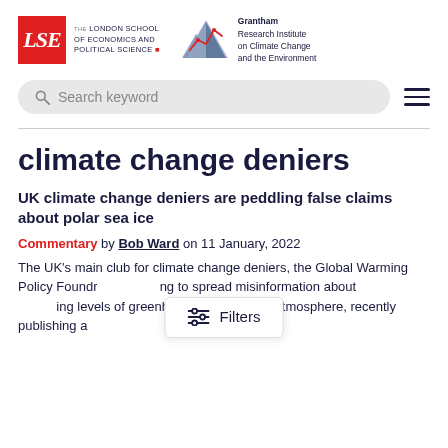[Figure (logo): LSE logo with red box and university name, plus Grantham Research Institute on Climate Change and the Environment logo with mountain graphic]
Search keyword
climate change deniers
UK climate change deniers are peddling false claims about polar sea ice
Commentary by Bob Ward on 11 January, 2022
The UK’s main club for climate change deniers, the Global Warming Policy Foundr[ation is try]ing to spread misinformation about [the chang]ing levels of greenhouse gases in the atmosphere, recently publishing a